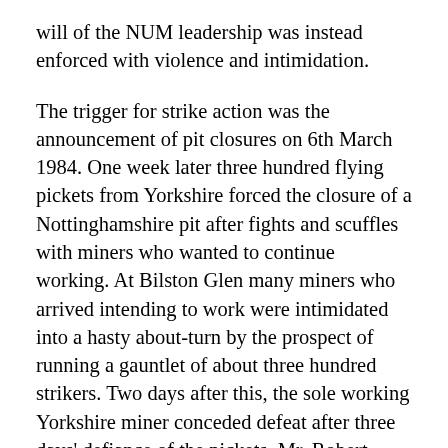will of the NUM leadership was instead enforced with violence and intimidation.
The trigger for strike action was the announcement of pit closures on 6th March 1984. One week later three hundred flying pickets from Yorkshire forced the closure of a Nottinghamshire pit after fights and scuffles with miners who wanted to continue working. At Bilston Glen many miners who arrived intending to work were intimidated into a hasty about-turn by the prospect of running a gauntlet of about three hundred strikers. Two days after this, the sole working Yorkshire miner conceded defeat after three days' defiance of the pickets. Mr. Robert Copping, 51, went to work at Houghton Main Colliery near Barnsley. Later he found his car over-turned. Its windscreen had been smashed with a lump of concrete. On March 24th at Hunn Heathen this opinion